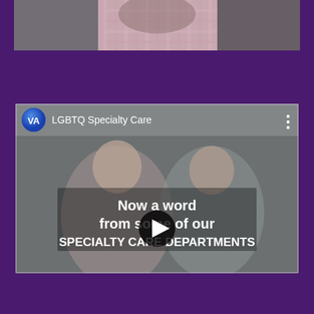[Figure (photo): Top portion of a person in a pink plaid shirt, cropped to show only the lower face and torso area, on a dark background]
[Figure (screenshot): YouTube-style video thumbnail showing 'LGBTQ Specialty Care' with VA logo, featuring two smiling people in black and white. Overlaid text reads 'Now a word from some of our SPECIALTY CARE DEPARTMENTS' with a play button in the center.]